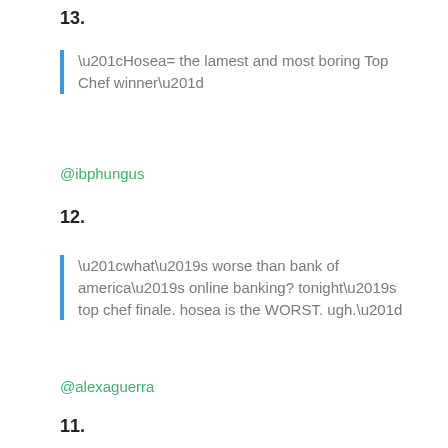13.
“Hosea= the lamest and most boring Top Chef winner”
@ibphungus
12.
“what’s worse than bank of america’s online banking? tonight’s top chef finale. hosea is the WORST. ugh.”
@alexaguerra
11.